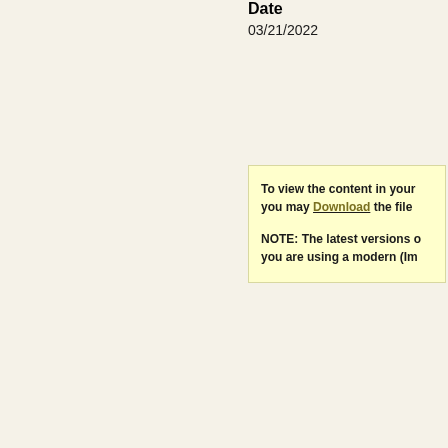Date
03/21/2022
To view the content in your browser, you may Download the file.

NOTE: The latest versions of you are using a modern (Im...